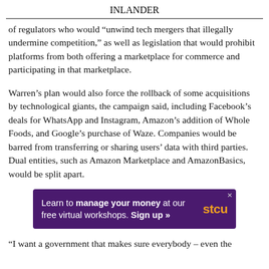INLANDER
of regulators who would “unwind tech mergers that illegally undermine competition,” as well as legislation that would prohibit platforms from both offering a marketplace for commerce and participating in that marketplace.
Warren’s plan would also force the rollback of some acquisitions by technological giants, the campaign said, including Facebook’s deals for WhatsApp and Instagram, Amazon’s addition of Whole Foods, and Google’s purchase of Waze. Companies would be barred from transferring or sharing users’ data with third parties. Dual entities, such as Amazon Marketplace and AmazonBasics, would be split apart.
[Figure (other): Advertisement for STCU: 'Learn to manage your money at our free virtual workshops. Sign up »' with purple background and STCU logo in orange.]
“I want a government that makes sure everybody – even the